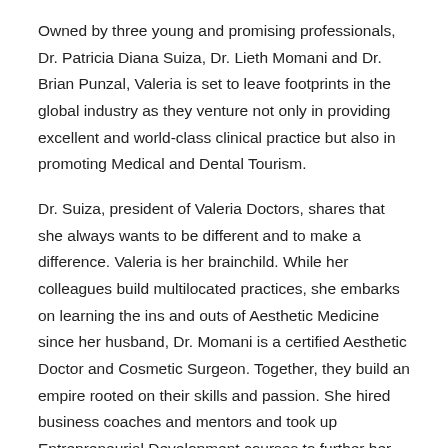Owned by three young and promising professionals, Dr. Patricia Diana Suiza, Dr. Lieth Momani and Dr. Brian Punzal, Valeria is set to leave footprints in the global industry as they venture not only in providing excellent and world-class clinical practice but also in promoting Medical and Dental Tourism.
Dr. Suiza, president of Valeria Doctors, shares that she always wants to be different and to make a difference. Valeria is her brainchild. While her colleagues build multilocated practices, she embarks on learning the ins and outs of Aesthetic Medicine since her husband, Dr. Momani is a certified Aesthetic Doctor and Cosmetic Surgeon. Together, they build an empire rooted on their skills and passion. She hired business coaches and mentors and took up Entrepreneurial Development courses to further her knowledge outside her dental profession. She is now being tagged as the Queen of Veneers by her growing number of patients and supporters. She also specializes in Periodontics and Implant